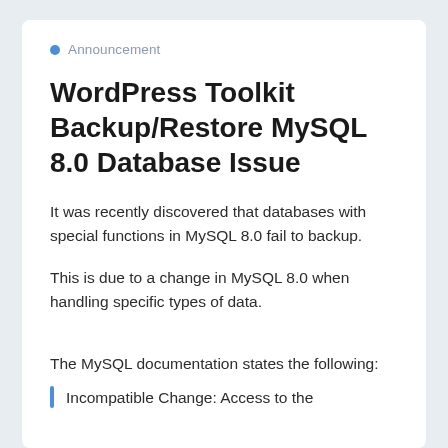Announcement
WordPress Toolkit Backup/Restore MySQL 8.0 Database Issue
It was recently discovered that databases with special functions in MySQL 8.0 fail to backup.
This is due to a change in MySQL 8.0 when handling specific types of data.
The MySQL documentation states the following:
Incompatible Change: Access to the